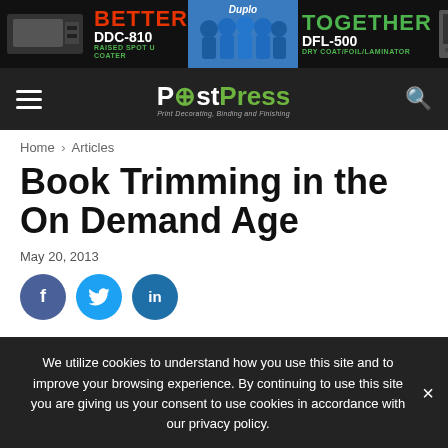[Figure (illustration): Duplo banner ad: BETTER DDC-810 RAISED SPOT U COATER on left, group of people in blue uniforms center, TOGETHER DFL-500 DRY COAT/FOIL/LAMINATOR on right]
PostPress — Print Decorating, Binding and Finishing
Home › Articles
Book Trimming in the On Demand Age
May 20, 2013
[Figure (infographic): Social share buttons: Facebook (f), Twitter (bird), LinkedIn (in)]
We utilize cookies to understand how you use this site and to improve your browsing experience. By continuing to use this site you are giving us your consent to use cookies in accordance with our privacy policy.